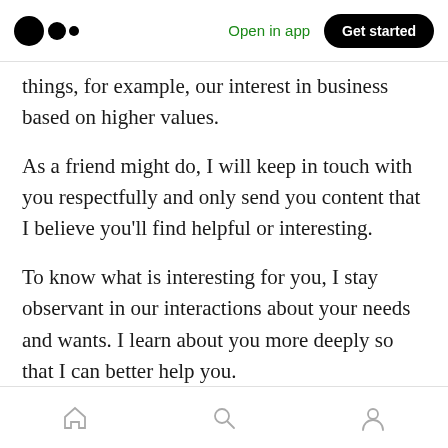Medium logo | Open in app | Get started
things, for example, our interest in business based on higher values.
As a friend might do, I will keep in touch with you respectfully and only send you content that I believe you'll find helpful or interesting.
To know what is interesting for you, I stay observant in our interactions about your needs and wants. I learn about you more deeply so that I can better help you.
Even if I think you are misguided, I won't judge
Home | Search | Profile